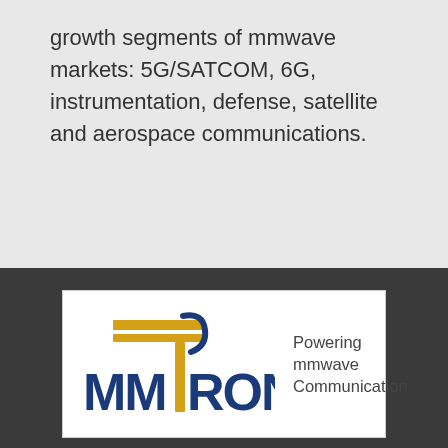growth segments of mmwave markets: 5G/SATCOM, 6G, instrumentation, defense, satellite and aerospace communications.
[Figure (logo): MMTRON logo with stylized MM and TRON letters in dark blue and gold/yellow, with tagline 'Powering mmwave Communication']